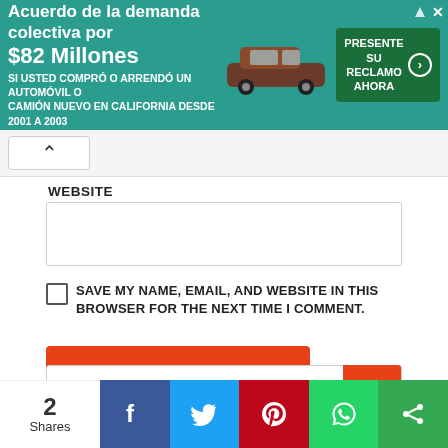[Figure (screenshot): Advertisement banner in teal/green color for a class action lawsuit settlement of $82 million. Text in Spanish: 'Acuerdo de la demanda colectiva por $82 Millones. SI USTED COMPRO O ARRENDO UN AUTOMOVIL O CAMION NUEVO EN CALIFORNIA DESDE 2001 A 2003'. Features a car image and a 'PRESENTE SU RECLAMO AHORA' call-to-action button.]
WEBSITE
SAVE MY NAME, EMAIL, AND WEBSITE IN THIS BROWSER FOR THE NEXT TIME I COMMENT.
POST COMMENT
Search
2 Shares